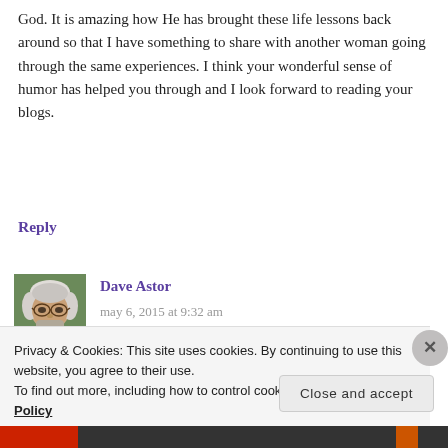God. It is amazing how He has brought these life lessons back around so that I have something to share with another woman going through the same experiences. I think your wonderful sense of humor has helped you through and I look forward to reading your blogs.
Reply
[Figure (photo): Avatar/profile photo of Dave Astor, an older man with gray/white hair and glasses, shown from shoulders up, outdoors.]
Dave Astor
may 6, 2015 at 9:32 am
Privacy & Cookies: This site uses cookies. By continuing to use this website, you agree to their use.
To find out more, including how to control cookies, see here: Cookie Policy
Close and accept